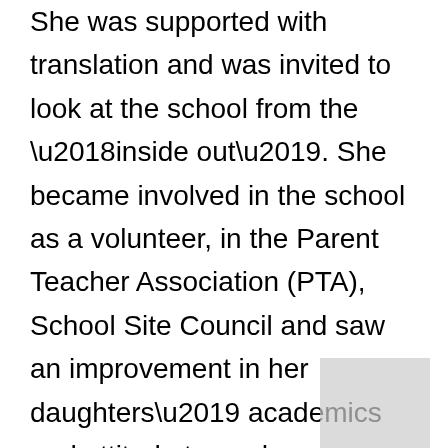She was supported with translation and was invited to look at the school from the ‘inside out’. She became involved in the school as a volunteer, in the Parent Teacher Association (PTA), School Site Council and saw an improvement in her daughters’ academics and attitude towards education. She has grown as a parent and parent leader in a variety of roles including facilitating multiple parent education classes, being a part of the PTA leadership, and as a Parent Leadership Institute instructor. As a result of these experiences, she is currently